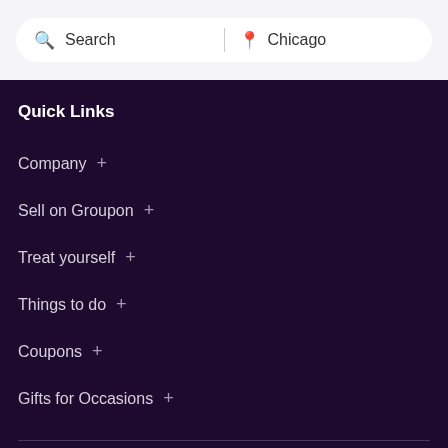[Figure (screenshot): Search bar with search icon and 'Search' placeholder text on the left, a vertical divider, and a location pin icon with 'Chicago' text on the right, on a light gray background]
Quick Links
Company +
Sell on Groupon +
Treat yourself +
Things to do +
Coupons +
Gifts for Occasions +
Groupon Sites